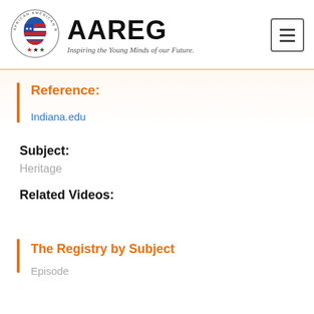[Figure (logo): African American Registry circular logo with map of Africa and stars]
AAREG
Inspiring the Young Minds of our Future.
Reference:
Indiana.edu
Subject:
Heritage
Related Videos:
The Registry by Subject
Episode